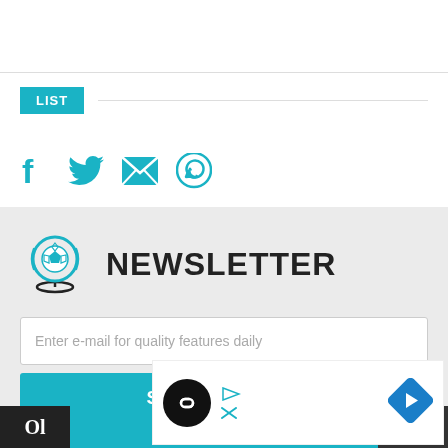[Figure (infographic): Horizontal divider line across the page]
LIST
[Figure (infographic): Social media share icons: Facebook (f), Twitter (bird), Email (envelope), WhatsApp (speech bubble) in teal color]
[Figure (logo): Globe with soccer ball icon representing a soccer/football newsletter logo]
NEWSLETTER
Enter e-mail for quality features daily
SUBMIT +
[Figure (infographic): Advertisement overlay with circular logo, play icon, and direction arrow sign]
[Figure (infographic): Scroll-to-top button (chevron up arrow) in dark background]